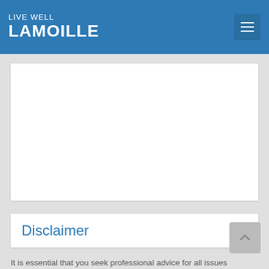LIVE WELL LAMOILLE
[Figure (other): White blank content card area (image placeholder)]
Disclaimer
It is essential that you seek professional advice for all issues concerning your health. Do not take any of the information in this blog (either in posts or comments) as professional advice or official communication from Copley Hospital or any of the blog